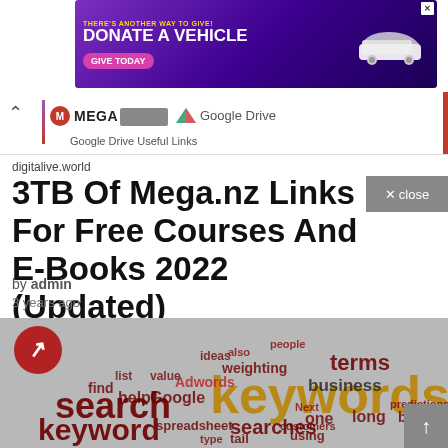[Figure (screenshot): Advertisement banner: purple background with 'THERE'S ANOTHER WAY TO GIVE! DONATE A VEHICLE' text, pink 'GIVE TODAY' button, and white car image]
[Figure (screenshot): Navigation bar showing MEGA logo, a gray rectangle, Google Drive icon, and 'Google Drive Useful Links' text with colored side bar]
digitalive.world
3TB Of Mega.nz Links For Free Courses And E-Books 2022 (Updated)
[Figure (screenshot): Close button with X icon saying 'close']
by admin
3 years ago
[Figure (infographic): Word cloud image on gray background featuring keywords related to SEO and keyword research. Prominent words include 'keywords' (large, dark yellow), 'search' (large, dark red), 'keyword' (large, dark red), 'terms', 'business', 'searches', 'long', 'Google', 'Adwords', 'help', 'find', 'spreadsheet', 'tail', 'using', 'one', 'box', 'predictions', 'weighting', 'site'. Buzzfeed-style red circle logo with white arrow in top-left.]